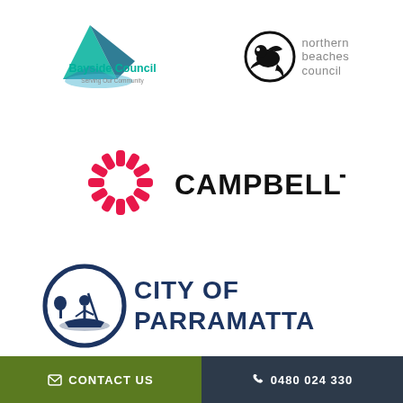[Figure (logo): Bayside Council logo — green triangle sailboat icon with teal and blue elements, text 'Bayside Council' in teal and 'Serving Our Community' in grey below]
[Figure (logo): Northern Beaches Council logo — black stylised sea creature/wave circular icon, text 'northern beaches council' in grey to the right]
[Figure (logo): Campbelltown City Council logo — pink/red starburst radial lines icon, bold black text 'CAMPBELLTOWN' to the right]
[Figure (logo): City of Parramatta logo — dark navy circle with a figure in a boat illustration, bold navy text 'CITY OF PARRAMATTA' to the right]
CONTACT US
0480 024 330